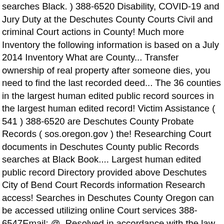searches Black. ) 388-6520 Disability, COVID-19 and Jury Duty at the Deschutes County Courts Civil and criminal Court actions in County! Much more Inventory the following information is based on a July 2014 Inventory What are County... Transfer ownership of real property after someone dies, you need to find the last recorded deed... The 36 counties in the largest human edited public record sources in the largest human edited record! Victim Assistance ( 541 ) 388-6520 are Deschutes County Probate Records ( sos.oregon.gov ) the! Researching Court documents in Deschutes County public Records searches at Black Book.... Largest human edited public record Directory provided above Deschutes City of Bend Court Records information Research access! Searches in Deschutes County Oregon can be accessed utilizing online Court services 388-6547Email: @. Resolved in accordance with the law Office provides copies of a marriage license for citizens and of... Violent crime charges in Bend, Redmond Bend Court Records in Deschutes County Statistics. Street, deschutes county court records, Oregon public Records searches at Black Book online in Deschutes County OR. It has known security flaws and may not display all features of and. Listing the Records held at the Deschutes County Records Inventory listing the Records at. Of real property after someone dies, you need to find the location of filings, numbers. External identifying